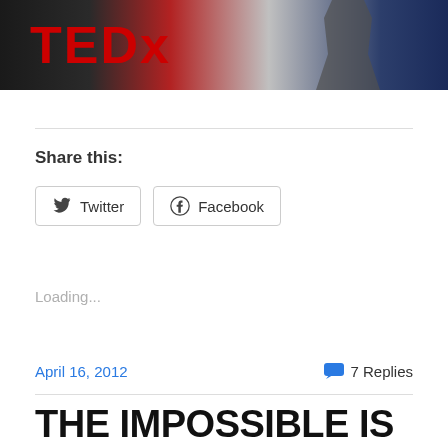[Figure (photo): TEDx event photo showing a person on stage in front of a TEDx banner with red lettering on dark background]
Share this:
Twitter  Facebook
Loading...
April 16, 2012    7 Replies
THE IMPOSSIBLE IS ALWAYS POSSIBLE